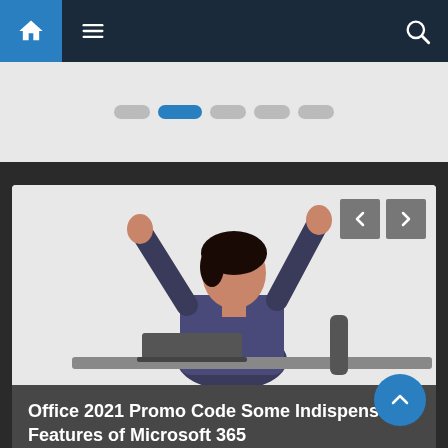Navigation bar with home icon, menu icon, and search icon
[Figure (other): Slider/carousel with pagination dots, second dot highlighted in blue]
[Figure (photo): Woman in business attire celebrating with arms raised, sitting at a desk with a laptop, against a light background. Navigation arrows (left and right) overlay top-right of image.]
Office 2021 Promo Code Some Indispensable Features of Microsoft 365
August 28, 2022   Bharat Negi   Comment(0)
General